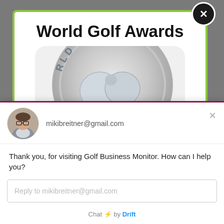The usage of wearables is not totally new to the golf industry. Those who were lucky to be in the Ryder
[Figure (screenshot): World Golf Awards popup modal with green border, showing the title 'World Golf Awards' in bold black text and a circular medal/seal logo partially visible. A close button (X) appears in the top-right corner.]
[Figure (screenshot): Drift chat widget at the bottom of the screen. Shows an avatar of a man with glasses, email 'mikibreitner@gmail.com', a message 'Thank you, for visiting Golf Business Monitor. How can I help you?', a reply input field with placeholder 'Reply to mikibreitner@gmail.com', and 'Chat by Drift' footer.]